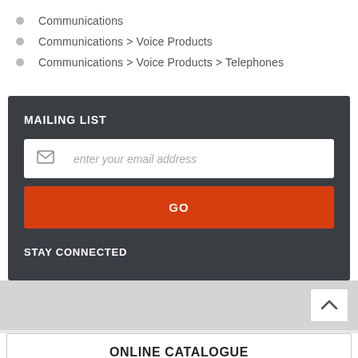Communications
Communications > Voice Products
Communications > Voice Products > Telephones
MAILING LIST
enter your email address
GO
STAY CONNECTED
ONLINE CATALOGUE